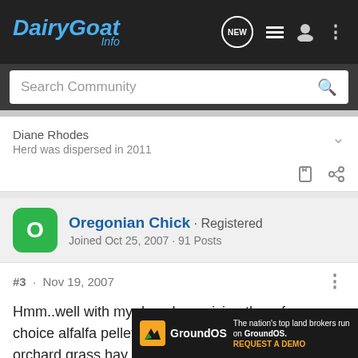DairyGoat Info — Search Community
Diane Rhodes
Herd was dispersed in 2011
Oregonian Chick · Registered
Joined Oct 25, 2007 · 91 Posts
#3 · Nov 19, 2007
Hmm..well with my does I am giving them free choice alfalfa pellets 24/7 with supplemental orchard grass hay once a day. That is actually what I have the whole herd on right now. I had the milk... they where b... months